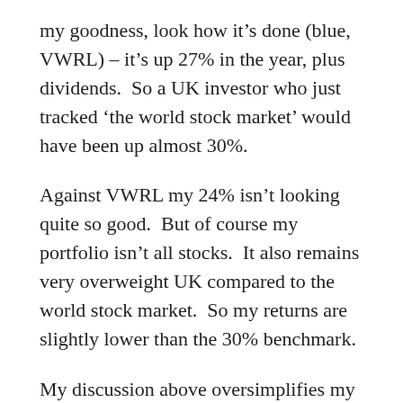my goodness, look how it's done (blue, VWRL) – it's up 27% in the year, plus dividends.  So a UK investor who just tracked 'the world stock market' would have been up almost 30%.
Against VWRL my 24% isn't looking quite so good.  But of course my portfolio isn't all stocks.  It also remains very overweight UK compared to the world stock market.  So my returns are slightly lower than the 30% benchmark.
My discussion above oversimplifies my portfolio, which is overweight Australia and also has a significant 'International' (a.k.a. funny-speaking) exposure.  All key markets tracked the USA pretty closely – equities up 10%, fixed income flat,